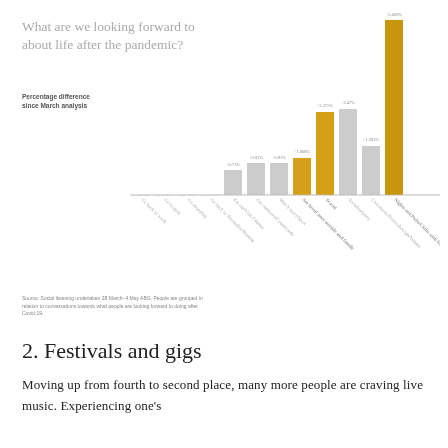What are we looking forward to about life after the pandemic?
Percentage difference since March analysis
[Figure (bar-chart): What are we looking forward to about life after the pandemic?]
Source: Social listening undertaken 28 March–4 May ABG. People are grouped in relation to conversations towards what people are looking forward to doing after Covid-19.
2. Festivals and gigs
Moving up from fourth to second place, many more people are craving live music. Experiencing one's